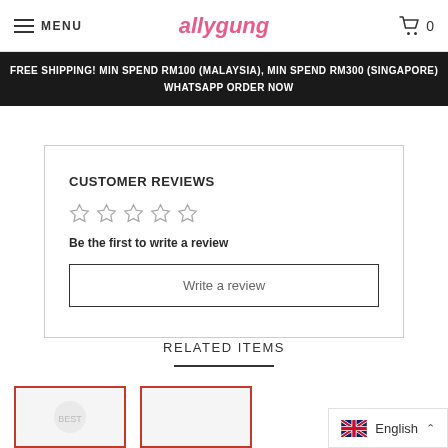≡ MENU   allygung   🛒 0
FREE SHIPPING! MIN SPEND RM100 (MALAYSIA), MIN SPEND RM300 (SINGAPORE)   WHATSAPP ORDER NOW
CUSTOMER REVIEWS
☆ ☆ ☆ ☆ ☆
Be the first to write a review
Write a review
RELATED ITEMS
English